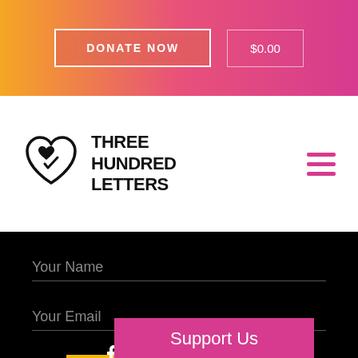DONATE NOW   $0.00
[Figure (logo): Three Hundred Letters logo with heart icon and bold text]
Your Name
Your Email
SUBSCRIBE →
[Figure (infographic): Social media icons: Facebook, Twitter, Instagram]
Support Us